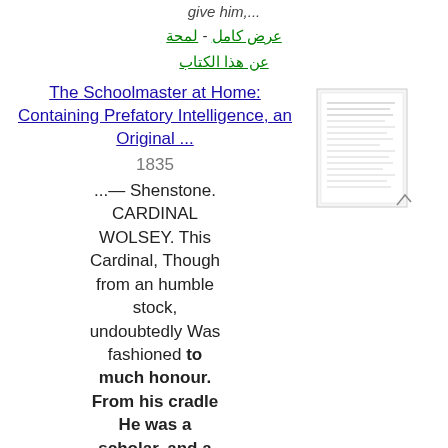give him,...
عرض كامل - لمحة
عن هذا الكتاب
The Schoolmaster at Home: Containing Prefatory Intelligence, an Original ...
1835
...— Shenstone. CARDINAL WOLSEY. This Cardinal, Though from an humble stock, undoubtedly Was fashioned to much honour. From his cradle He was a scholar, and a ripe and good
[Figure (illustration): Small thumbnail image of a book cover/page for 'The Schoolmaster at Home']